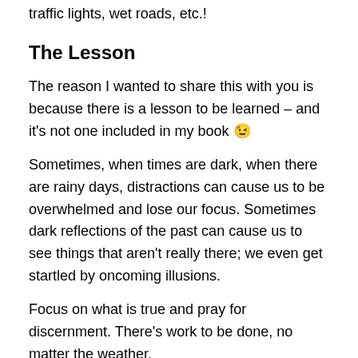traffic lights, wet roads, etc.!
The Lesson
The reason I wanted to share this with you is because there is a lesson to be learned – and it's not one included in my book 😉
Sometimes, when times are dark, when there are rainy days, distractions can cause us to be overwhelmed and lose our focus. Sometimes dark reflections of the past can cause us to see things that aren't really there; we even get startled by oncoming illusions.
Focus on what is true and pray for discernment. There's work to be done, no matter the weather.